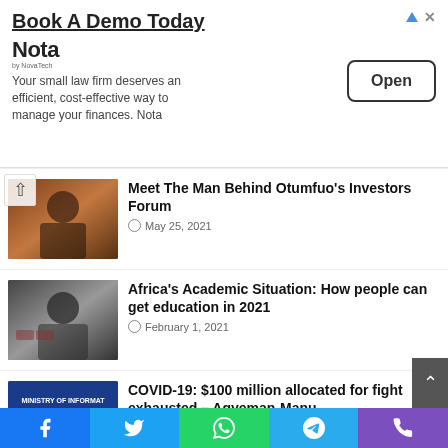[Figure (other): Advertisement banner: Book A Demo Today - Nota by NovaTech. 'Your small law firm deserves an efficient, cost-effective way to manage your finances. Nota'. Open button.]
Meet The Man Behind Otumfuo's Investors Forum | May 25, 2021
Africa's Academic Situation: How people can get education in 2021 | February 1, 2021
COVID-19: $100 million allocated for fight exhausted – Agyeman-Manu | February 10, 2021
Nigeria's Dr. Ngozi Okonjo-Iweala chosen as Director-General for WTO | February 15, 2021